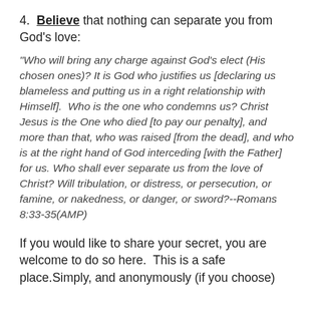4. Believe that nothing can separate you from God's love:
"Who will bring any charge against God’s elect (His chosen ones)? It is God who justifies us [declaring us blameless and putting us in a right relationship with Himself]. Who is the one who condemns us? Christ Jesus is the One who died [to pay our penalty], and more than that, who was raised [from the dead], and who is at the right hand of God interceding [with the Father] for us. Who shall ever separate us from the love of Christ? Will tribulation, or distress, or persecution, or famine, or nakedness, or danger, or sword?--Romans 8:33-35(AMP)
If you would like to share your secret, you are welcome to do so here. This is a safe place.Simply, and anonymously (if you choose)